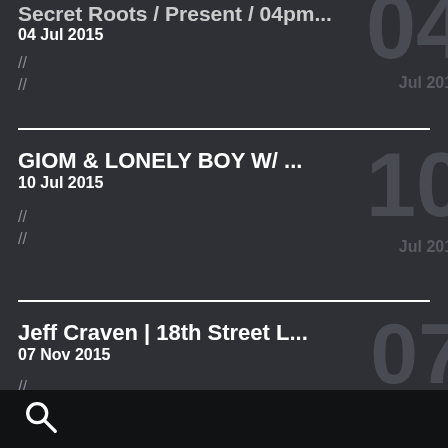Secret Roots / Present / 04pm...
04 Jul 2015
//
//
GIOM & LONELY BOY W/ ...
10 Jul 2015
//
//
Jeff Craven | 18th Street L...
07 Nov 2015
//
//
[Figure (other): Search icon (magnifying glass) in bottom navigation bar]